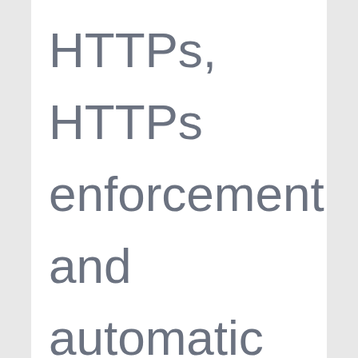HTTPs, HTTPs enforcement and automatic letsencrypt certificate